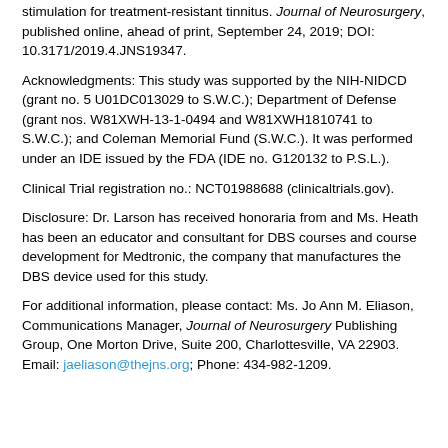stimulation for treatment-resistant tinnitus. Journal of Neurosurgery, published online, ahead of print, September 24, 2019; DOI: 10.3171/2019.4.JNS19347.
Acknowledgments: This study was supported by the NIH-NIDCD (grant no. 5 U01DC013029 to S.W.C.); Department of Defense (grant nos. W81XWH-13-1-0494 and W81XWH1810741 to S.W.C.); and Coleman Memorial Fund (S.W.C.). It was performed under an IDE issued by the FDA (IDE no. G120132 to P.S.L.).
Clinical Trial registration no.: NCT01988688 (clinicaltrials.gov).
Disclosure: Dr. Larson has received honoraria from and Ms. Heath has been an educator and consultant for DBS courses and course development for Medtronic, the company that manufactures the DBS device used for this study.
For additional information, please contact: Ms. Jo Ann M. Eliason, Communications Manager, Journal of Neurosurgery Publishing Group, One Morton Drive, Suite 200, Charlottesville, VA 22903. Email: jaeliason@thejns.org; Phone: 434-982-1209.